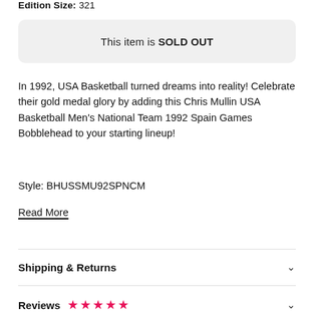Edition Size: 321
This item is SOLD OUT
In 1992, USA Basketball turned dreams into reality! Celebrate their gold medal glory by adding this Chris Mullin USA Basketball Men's National Team 1992 Spain Games Bobblehead to your starting lineup!
Style: BHUSSMU92SPNCM
Read More
Shipping & Returns
Reviews ★★★★★